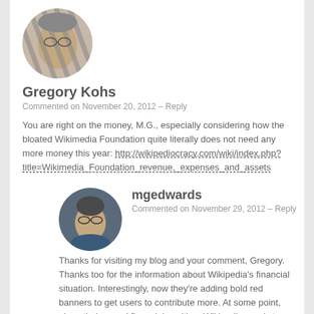[Figure (photo): Circular avatar photo of Gregory Kohs, a person with glasses and dramatic shadow stripes across their face]
Gregory Kohs
Commented on November 20, 2012 – Reply
You are right on the money, M.G., especially considering how the bloated Wikimedia Foundation quite literally does not need any more money this year: http://wikipediocracy.com/wiki/index.php?title=Wikimedia_Foundation_revenue,_expenses_and_assets
[Figure (photo): Circular avatar photo of mgedwards, a man with glasses holding his hand near his chin]
mgedwards
Commented on November 29, 2012 – Reply
Thanks for visiting my blog and your comment, Gregory. Thanks too for the information about Wikipedia's financial situation. Interestingly, now they're adding bold red banners to get users to contribute more. At some point, given their sound financial position, Wikipedia needs to learn to not to rely on annual pledges.